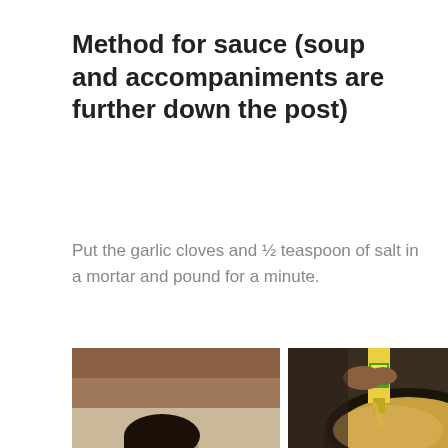Method for sauce (soup and accompaniments are further down the post)
Put the garlic cloves and ½ teaspoon of salt in a mortar and pound for a minute.
[Figure (photo): Woman in dark blue sweater sitting and working with ingredients on the ground outdoors]
[Figure (photo): Overhead view of oil being poured from a green-labeled bottle into a dark pan containing yellow/brown grain or spice mixture]
[Figure (photo): Woman cooking over an outdoor fire or grill with wooden structure in background]